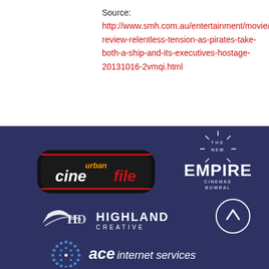Source: http://www.smh.com.au/entertainment/movies/hijacking-review-relentless-tension-as-pirates-take-both-a-ship-and-its-executives-hostage-20131016-2vmqi.html
[Figure (logo): Urban CineFile logo - black rounded rectangle with orange and white text 'urban cinefile']
[Figure (logo): The New Empire Cinemas Bowral logo - white text and graphic on dark blue background]
[Figure (logo): Highland Creative logo - stylized HD mark with text HIGHLAND CREATIVE]
[Figure (other): Scroll up button - circle with upward arrow]
[Figure (logo): Ace Internet Services logo - blue dot pattern with text 'ace internet services']